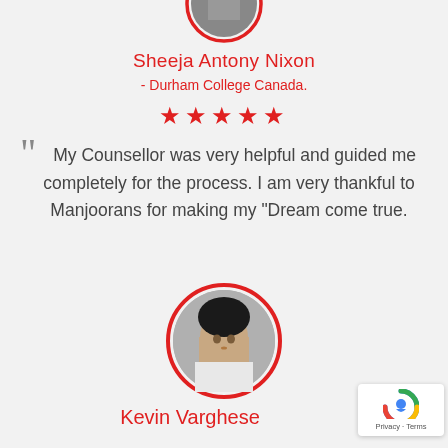[Figure (photo): Partial circular profile photo of Sheeja Antony Nixon with red circular border, cropped at top of page]
Sheeja Antony Nixon
- Durham College Canada.
★★★★★
My Counsellor was very helpful and guided me completely for the process. I am very thankful to Manjoorans for making my "Dream come true.
[Figure (photo): Circular profile photo of Kevin Varghese, a young boy, with red circular border]
Kevin Varghese